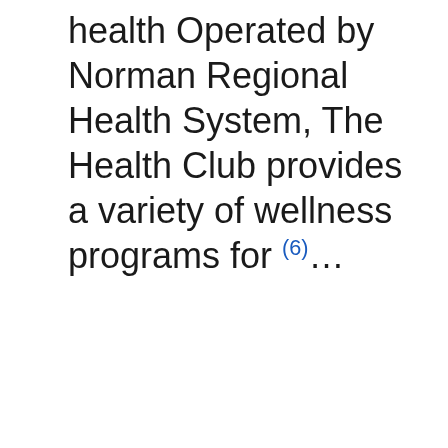health Operated by Norman Regional Health System, The Health Club provides a variety of wellness programs for (6)…